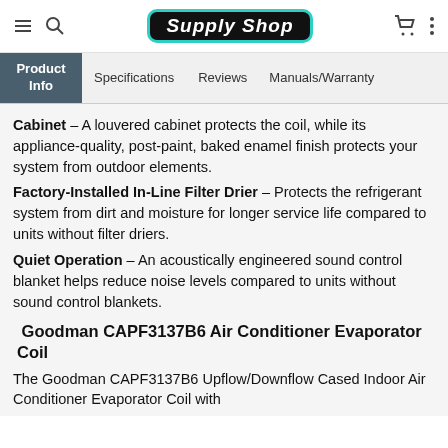Supply Shop — navigation header with menu, search, cart, more icons
Product Info | Specifications | Reviews | Manuals/Warranty
Cabinet – A louvered cabinet protects the coil, while its appliance-quality, post-paint, baked enamel finish protects your system from outdoor elements.
Factory-Installed In-Line Filter Drier – Protects the refrigerant system from dirt and moisture for longer service life compared to units without filter driers.
Quiet Operation – An acoustically engineered sound control blanket helps reduce noise levels compared to units without sound control blankets.
Goodman CAPF3137B6 Air Conditioner Evaporator Coil
The Goodman CAPF3137B6 Upflow/Downflow Cased Indoor Air Conditioner Evaporator Coil with